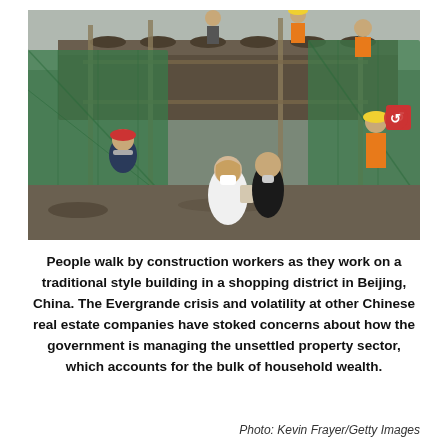[Figure (photo): People walk by construction workers working on a traditional style building in a shopping district in Beijing, China. Workers in orange safety vests and hard hats are on scaffolding covered with green safety netting. Pedestrians including a woman in a white dress and face mask and a man in a black shirt and face mask walk in the foreground.]
People walk by construction workers as they work on a traditional style building in a shopping district in Beijing, China. The Evergrande crisis and volatility at other Chinese real estate companies have stoked concerns about how the government is managing the unsettled property sector, which accounts for the bulk of household wealth.
Photo: Kevin Frayer/Getty Images